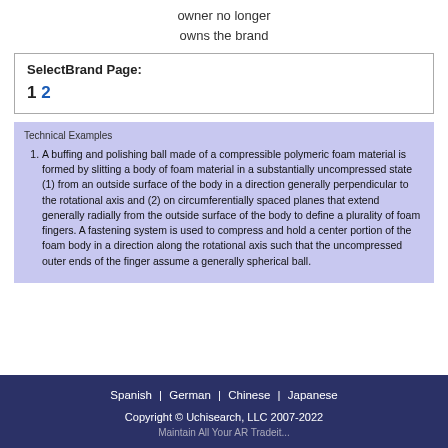owner no longer
owns the brand
SelectBrand Page:
1  2
Technical Examples
A buffing and polishing ball made of a compressible polymeric foam material is formed by slitting a body of foam material in a substantially uncompressed state (1) from an outside surface of the body in a direction generally perpendicular to the rotational axis and (2) on circumferentially spaced planes that extend generally radially from the outside surface of the body to define a plurality of foam fingers. A fastening system is used to compress and hold a center portion of the foam body in a direction along the rotational axis such that the uncompressed outer ends of the finger assume a generally spherical ball.
Spanish | German | Chinese | Japanese
Copyright © Uchisearch, LLC 2007-2022